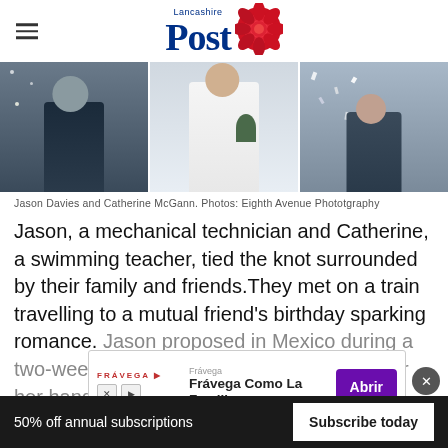Lancashire Post
[Figure (photo): Wedding photo strip showing Jason Davies and Catherine McGann in three panels: groom walking, bride in white gown with bouquet, confetti scene]
Jason Davies and Catherine McGann. Photos: Eighth Avenue Phototgraphy
Jason, a mechanical technician and Catherine, a swimming teacher, tied the knot surrounded by their family and friends.They met on a train travelling to a mutual friend's birthday sparking romance. Jason proposed in Mexico during a two-w[eek holiday, asking Catherine's] dad for her hand in marriage before they went and
[Figure (other): Advertisement overlay: Frávega Como La Familia with Abrir button]
50% off annual subscriptions
Subscribe today